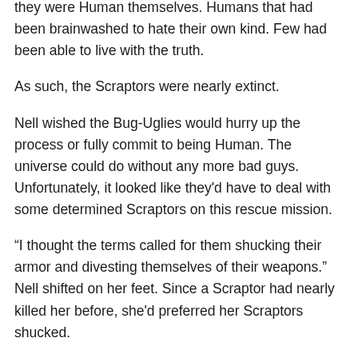they were Human themselves. Humans that had been brainwashed to hate their own kind. Few had been able to live with the truth.
As such, the Scraptors were nearly extinct.
Nell wished the Bug-Uglies would hurry up the process or fully commit to being Human. The universe could do without any more bad guys. Unfortunately, it looked like they'd have to deal with some determined Scraptors on this rescue mission.
“I thought the terms called for them shucking their armor and divesting themselves of their weapons.” Nell shifted on her feet. Since a Scraptor had nearly killed her before, she'd preferred her Scraptors shucked.
“They got the weapons bit right.” Richmond shrugged. Her